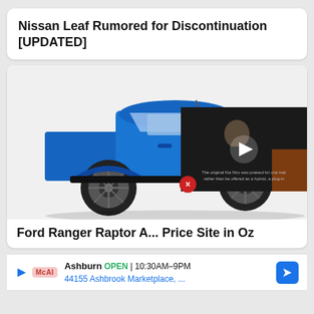Nissan Leaf Rumored for Discontinuation [UPDATED]
[Figure (photo): Blue Ford Ranger Raptor pickup truck photographed from the front-left angle, showing the FORD grille lettering and RANGER badge]
Ford Ranger Raptor A... Price Site in Oz
[Figure (photo): Video thumbnail overlay showing a man in dark clothing against a dark background with a white play button, caption text about Kia Niro]
Ashburn OPEN 10:30AM–9PM 44155 Ashbrook Marketplace, ...